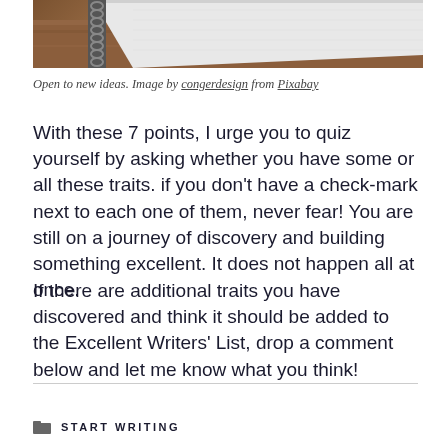[Figure (photo): Close-up of a spiral notebook on a wooden surface, showing the spiral binding and notebook cover at an angle.]
Open to new ideas. Image by congerdesign from Pixabay
With these 7 points, I urge you to quiz yourself by asking whether you have some or all these traits. if you don't have a check-mark next to each one of them, never fear! You are still on a journey of discovery and building something excellent. It does not happen all at once.
If there are additional traits you have discovered and think it should be added to the Excellent Writers' List, drop a comment below and let me know what you think!
START WRITING